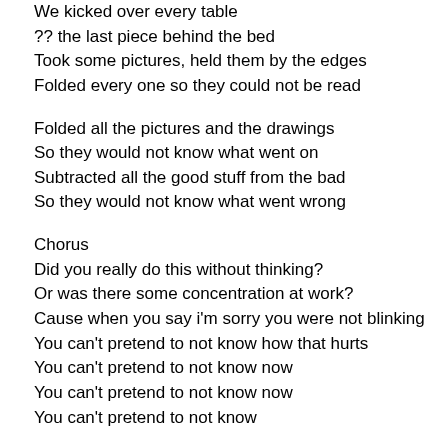We kicked over every table
?? the last piece behind the bed
Took some pictures, held them by the edges
Folded every one so they could not be read
Folded all the pictures and the drawings
So they would not know what went on
Subtracted all the good stuff from the bad
So they would not know what went wrong
Chorus
Did you really do this without thinking?
Or was there some concentration at work?
Cause when you say i'm sorry you were not blinking
You can't pretend to not know how that hurts
You can't pretend to not know now
You can't pretend to not know now
You can't pretend to not know